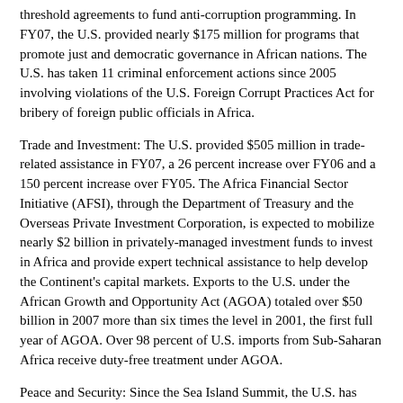threshold agreements to fund anti-corruption programming. In FY07, the U.S. provided nearly $175 million for programs that promote just and democratic governance in African nations. The U.S. has taken 11 criminal enforcement actions since 2005 involving violations of the U.S. Foreign Corrupt Practices Act for bribery of foreign public officials in Africa.
Trade and Investment: The U.S. provided $505 million in trade-related assistance in FY07, a 26 percent increase over FY06 and a 150 percent increase over FY05. The Africa Financial Sector Initiative (AFSI), through the Department of Treasury and the Overseas Private Investment Corporation, is expected to mobilize nearly $2 billion in privately-managed investment funds to invest in Africa and provide expert technical assistance to help develop the Continent's capital markets. Exports to the U.S. under the African Growth and Opportunity Act (AGOA) totaled over $50 billion in 2007 more than six times the level in 2001, the first full year of AGOA. Over 98 percent of U.S. imports from Sub-Saharan Africa receive duty-free treatment under AGOA.
Peace and Security: Since the Sea Island Summit, the U.S. has trained more than 40,000 African peacekeepers. Approximately 80 percent of these U.S.-trained African peacekeepers have been deployed in AU and UN missions, both inside and outside of Africa.